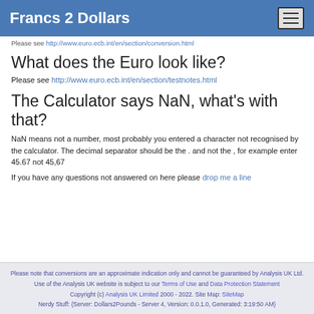Francs 2 Dollars
Please see http://www.euro.ecb.int/en/section/conversion.html
What does the Euro look like?
Please see http://www.euro.ecb.int/en/section/testnotes.html
The Calculator says NaN, what's with that?
NaN means not a number, most probably you entered a character not recognised by the calculator. The decimal separator should be the . and not the , for example enter 45.67 not 45,67
If you have any questions not answered on here please drop me a line
Please note that conversions are an approximate indication only and cannot be guaranteed by Analysis UK Ltd. Use of the Analysis UK website is subject to our Terms of Use and Data Protection Statement Copyright (c) Analysis UK Limited 2000 - 2022. Site Map: SiteMap Nerdy Stuff: {Server: Dollars2Pounds - Server 4, Version: 0.0.1.0, Generated: 3:19:50 AM}